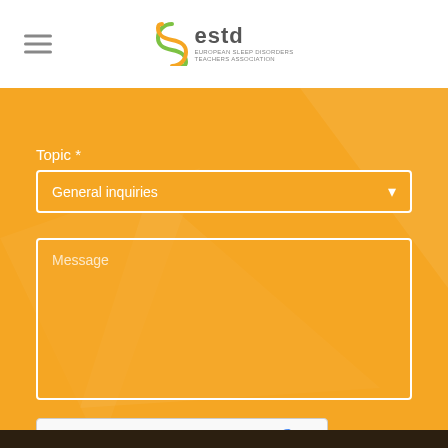[Figure (logo): ESTD logo with green-yellow swirl icon and text 'estd' with subtitle 'EUROPEAN SLEEP DISORDERS TEACHERS ASSOCIATION']
Topic *
General inquiries
Message
[Figure (screenshot): reCAPTCHA widget with checkbox, 'Jeg er ikke en robot' text, and reCAPTCHA branding with Privatlivs and Vilkår links]
Indsend